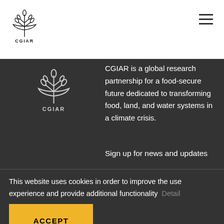[Figure (logo): CGIAR logo in header (white background)]
[Figure (logo): CGIAR logo in dark footer section]
CGIAR is a global research partnership for a food-secure future dedicated to transforming food, land, and water systems in a climate crisis.
Sign up for news and updates
This website uses cookies in order to improve the use experience and provide additional functionality   Detail
ACCEPT